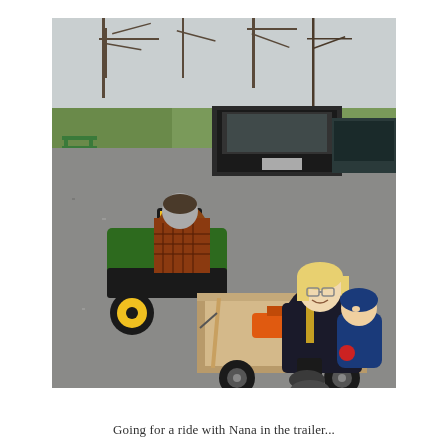[Figure (photo): Outdoor photograph showing a grandmother with blonde hair and glasses, wearing a dark jacket, sitting in a wooden trailer being pulled by a green John Deere riding lawn mower driven by a person in a plaid shirt. The grandmother is holding a small baby in a blue hooded jacket. The trailer also contains tools including a chainsaw and shovels. A dark pickup truck is parked in the background, with bare trees and green lawn visible. The setting appears to be a gravel driveway on a cloudy spring day.]
Going for a ride with Nana in the trailer...